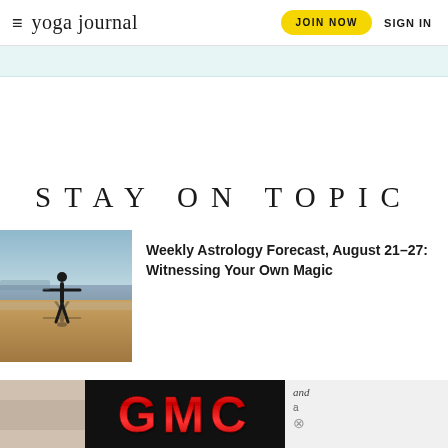yoga journal | JOIN NOW | SIGN IN
STAY ON TOPIC
[Figure (photo): Person standing on a beach with arms outstretched, reflected in wet sand, pastel sky]
Weekly Astrology Forecast, August 21-27: Witnessing Your Own Magic
[Figure (logo): GMC logo in red on black background advertisement banner]